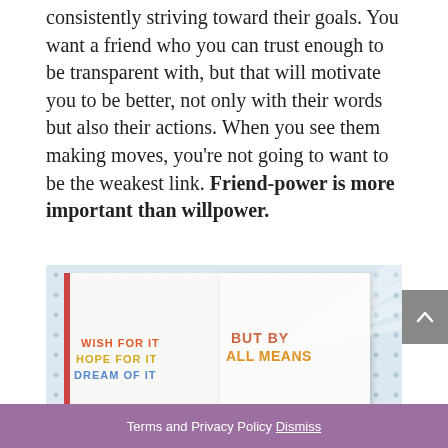consistently striving toward their goals. You want a friend who you can trust enough to be transparent with, but that will motivate you to be better, not only with their words but also their actions. When you see them making moves, you're not going to want to be the weakest link. Friend-power is more important than willpower.
[Figure (photo): Open book/journal with colorful decorative text reading 'WISH FOR IT / HOPE FOR IT / DREAM OF IT' on the left page and 'BUT BY ALL MEANS' on the right page, against a polka-dot patterned background with light rays.]
Terms and Privacy Policy Dismiss